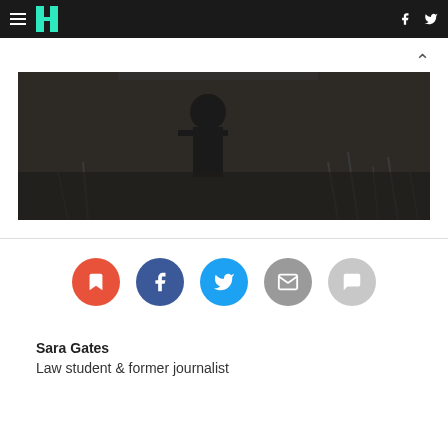HuffPost navigation bar with logo, hamburger menu, Facebook and Twitter icons
[Figure (photo): Dark image showing a person or insect in a natural environment with grass/reeds in background]
[Figure (infographic): Social sharing buttons: bookmark (red), Facebook (dark blue), Twitter (light blue), email (grey), comment (light grey)]
Sara Gates
Law student & former journalist